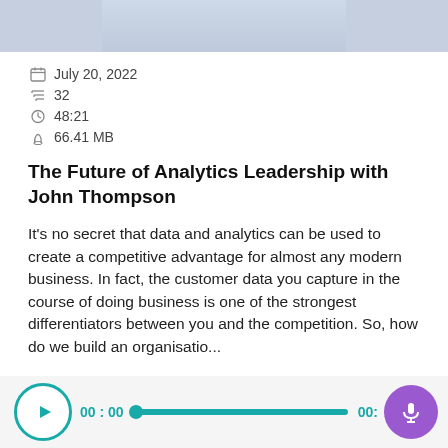[Figure (photo): Cropped photo of a person wearing a light blue shirt, showing torso and arms only (head/face cropped out at top of frame)]
July 20, 2022
32
48:21
66.41 MB
The Future of Analytics Leadership with John Thompson
It's no secret that data and analytics can be used to create a competitive advantage for almost any modern business. In fact, the customer data you capture in the course of doing business is one of the strongest differentiators between you and the competition. So, how do we build an organisatio...
[Figure (screenshot): Audio player bar with play button (teal circle outline), time display 00:00, teal progress bar, end time 00: (partially cropped), and purple microphone button]